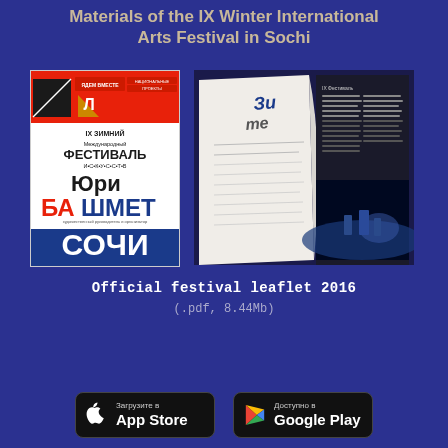Materials of the IX Winter International Arts Festival in Sochi
[Figure (photo): Left: book cover of the IX Winter International Arts Festival in Sochi (Russian text, red/white/blue design with Yuri Bashmet). Right: open magazine/leaflet pages with text and a dark performance photo.]
Official festival leaflet 2016
(.pdf, 8.44Mb)
[Figure (logo): App Store download button with Apple logo, text 'Загрузите в App Store']
[Figure (logo): Google Play download button with Google Play logo, text 'Доступно в Google Play']